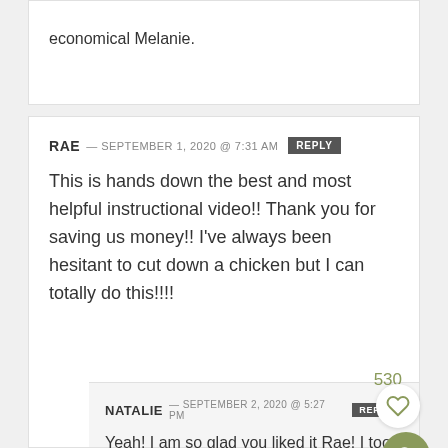economical Melanie.
RAE — SEPTEMBER 1, 2020 @ 7:31 AM  REPLY
This is hands down the best and most helpful instructional video!! Thank you for saving us money!! I've always been hesitant to cut down a chicken but I can totally do this!!!!
530
NATALIE — SEPTEMBER 2, 2020 @ 5:27 PM  REPLY
Yeah! I am so glad you liked it Rae! I too was super intimidated to cut down a chicken but it really is so easy. You can do this friend!